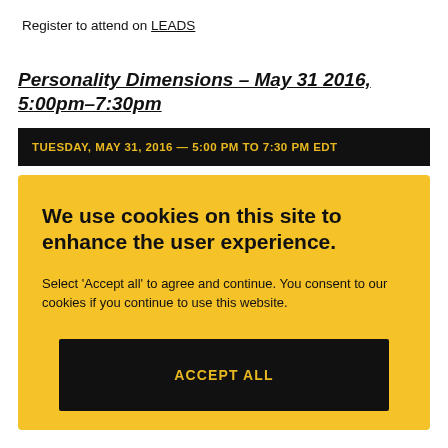Register to attend on LEADS
Personality Dimensions – May 31 2016, 5:00pm–7:30pm
TUESDAY, MAY 31, 2016 — 5:00 PM TO 7:30 PM EDT
We use cookies on this site to enhance the user experience.
Select 'Accept all' to agree and continue. You consent to our cookies if you continue to use this website.
ACCEPT ALL